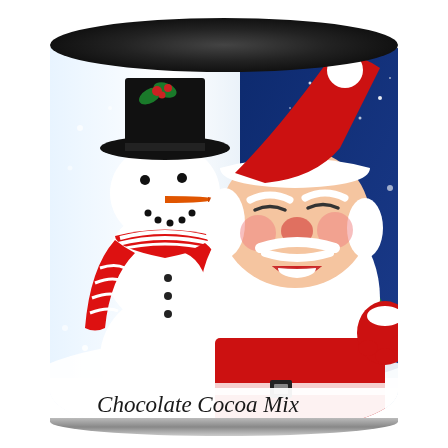[Figure (photo): A cylindrical tin can of Chocolate Cocoa Mix with a holiday-themed label featuring a cheerful snowman wearing a black top hat with holly, a red and white striped scarf, and Santa Claus with a white beard and red suit, both smiling against a dark blue snowy night sky background. The can has a black lid on top and a silver bottom rim. The label text reads 'Chocolate Cocoa Mix' in dark italic serif font, and below that 'NATURAL & ARTIFICIAL FLAVORS' and 'NET WT 3 OZ (85G)' in small caps.]